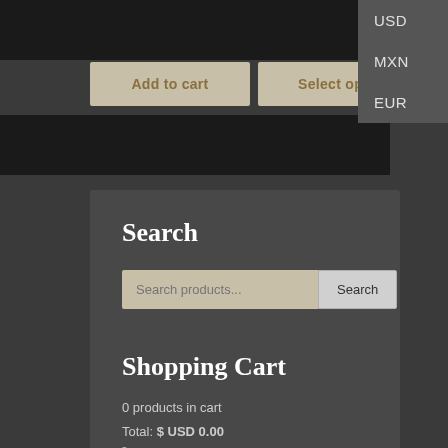[Figure (screenshot): Add to cart and Select options buttons on dark background]
USD
MXN
EUR
Search
Search products...
Shopping Cart
0 products in cart
Total: $ USD 0.00
View your cart